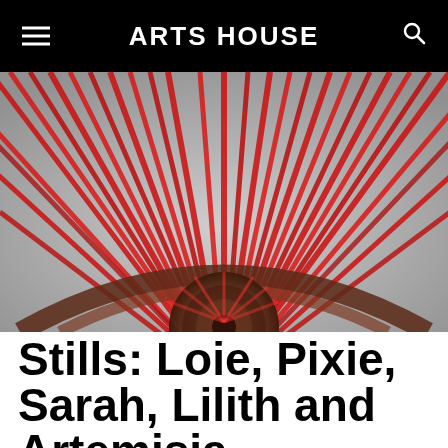ARTS HOUSE
[Figure (photo): Close-up photograph of a circular wheel-like sculpture or installation with radiating red spokes/rods fanning outward from a central dark hub, photographed from below against a light background.]
Stills: Loie, Pixie, Sarah, Lilith and Artemisia